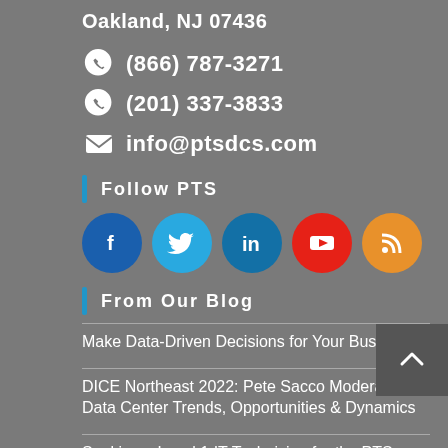Oakland, NJ 07436
(866) 787-3271
(201) 337-3833
info@ptsdcs.com
Follow PTS
[Figure (illustration): Social media icons: Facebook (blue circle), Twitter (light blue circle), LinkedIn (teal circle), YouTube (red circle), RSS (orange circle)]
From Our Blog
Make Data-Driven Decisions for Your Business
DICE Northeast 2022: Pete Sacco Moderates Data Center Trends, Opportunities & Dynamics
Seeking a Level 1 IT Technician for the PTS Team
We're Looking for an Entry Level Electrical Engineer